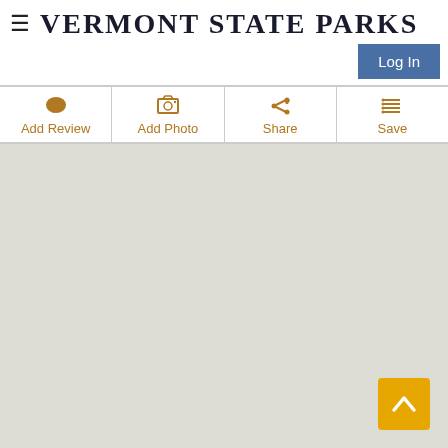VERMONT STATE PARKS
Log In
Add Review
Add Photo
Share
Save
[Figure (map): Gray map area placeholder for Vermont State Parks map view]